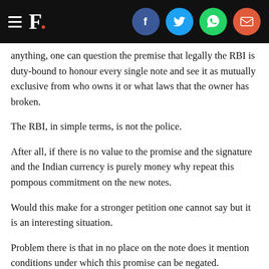F. [social icons: Facebook, Twitter, WhatsApp, Email]
anything, one can question the premise that legally the RBI is duty-bound to honour every single note and see it as mutually exclusive from who owns it or what laws that the owner has broken.
The RBI, in simple terms, is not the police.
After all, if there is no value to the promise and the signature and the Indian currency is purely money why repeat this pompous commitment on the new notes.
Would this make for a stronger petition one cannot say but it is an interesting situation.
Problem there is that in no place on the note does it mention conditions under which this promise can be negated.
Updated Date:  December 29, 2016 14:05:20 IST
TAGS:  Black Money  Demonetisation  Indian Currency